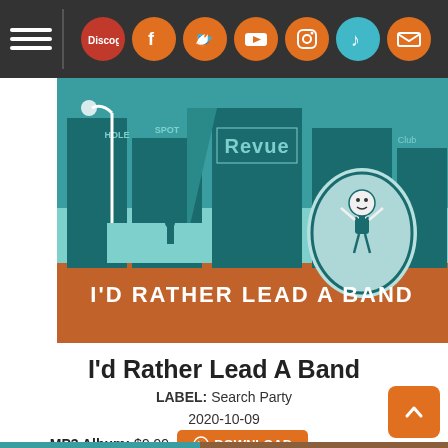[Figure (screenshot): Navigation bar with hamburger menu, Discogs logo, and social media icon buttons (Facebook, Twitter, YouTube, Instagram, TikTok, Email) on dark background]
[Figure (illustration): Album cover art for 'I'd Rather Lead A Band' — colorful graphic illustration of city scene with buildings labeled HOLE, SPOT, REVUE, CLUB, a street lamp, a figure walking, and a cartoon conductor in an oval frame; orange banner at bottom reads I'D RATHER LEAD A BAND]
I'd Rather Lead A Band
LABEL: Search Party
2020-10-09
MP3 Album: $9.99  DOWNLOAD
[Figure (illustration): Partial bottom banner featuring Loudon Wainwright III album art in teal and brown tones]